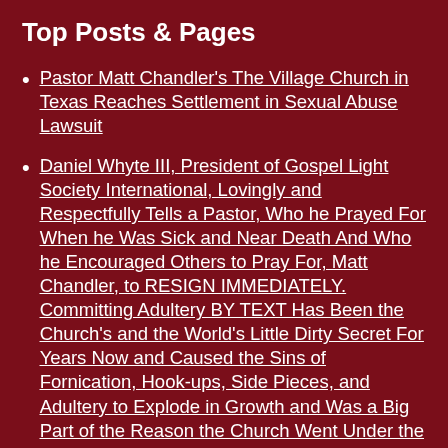Top Posts & Pages
Pastor Matt Chandler's The Village Church in Texas Reaches Settlement in Sexual Abuse Lawsuit
Daniel Whyte III, President of Gospel Light Society International, Lovingly and Respectfully Tells a Pastor, Who he Prayed For When he Was Sick and Near Death And Who he Encouraged Others to Pray For, Matt Chandler, to RESIGN IMMEDIATELY. Committing Adultery BY TEXT Has Been the Church's and the World's Little Dirty Secret For Years Now and Caused the Sins of Fornication, Hook-ups, Side Pieces, and Adultery to Explode in Growth and Was a Big Part of the Reason the Church Went Under the REBUKE and CHASTISEMENT of the LORD JESUS CHRIST Through the Coronavirus Plague and All of the Other Plagues That Have Come Upon us Because the Church is Not Repenting, and Therefore, is the Reason Many Pastors and Their Wives, So-called Church Leaders, and Church Members Have Gotten Sick and Died. For